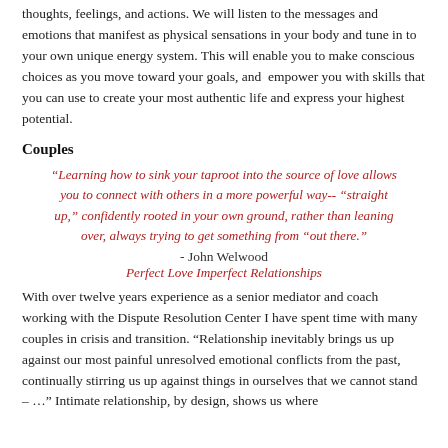thoughts, feelings, and actions.  We will listen to the messages and emotions that manifest as physical sensations in your body and tune in to your own unique energy system.  This will enable you to make conscious choices as you move toward your goals, and  empower you with skills that you can use to create your most authentic life and express your highest potential.
Couples
“Learning how to sink your taproot into the source of love allows you to connect with others in a more powerful way-- “straight up,” confidently rooted in your own ground, rather than leaning over, always trying to get something from “out there.”
- John Welwood
Perfect Love Imperfect Relationships
With over twelve years experience as a senior mediator and coach working with the Dispute Resolution Center I have spent time with many couples in crisis and transition.  “Relationship inevitably brings us up against our most painful unresolved emotional conflicts from the past, continually stirring us up against things in ourselves that we cannot stand – …”  Intimate relationship, by design, shows us where